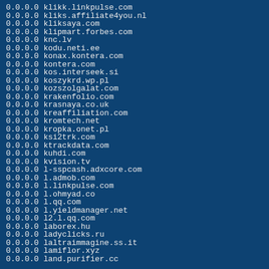0.0.0.0 klikk.linkpulse.com
0.0.0.0 kliks.affiliate4you.nl
0.0.0.0 kliksaya.com
0.0.0.0 klipmart.forbes.com
0.0.0.0 knc.lv
0.0.0.0 kodu.neti.ee
0.0.0.0 konax.kontera.com
0.0.0.0 kontera.com
0.0.0.0 kos.interseek.si
0.0.0.0 koszykrd.wp.pl
0.0.0.0 kozszolgalat.com
0.0.0.0 krakenfolio.com
0.0.0.0 krasnaya.co.uk
0.0.0.0 kreaffiliation.com
0.0.0.0 kromtech.net
0.0.0.0 kropka.onet.pl
0.0.0.0 ksi2trk.com
0.0.0.0 ktrackdata.com
0.0.0.0 kuhdi.com
0.0.0.0 kvision.tv
0.0.0.0 l-sspcash.adxcore.com
0.0.0.0 l.admob.com
0.0.0.0 l.linkpulse.com
0.0.0.0 l.ohmyad.co
0.0.0.0 l.qq.com
0.0.0.0 l.yieldmanager.net
0.0.0.0 l2.l.qq.com
0.0.0.0 laborex.hu
0.0.0.0 ladyclicks.ru
0.0.0.0 laltraimmagine.ss.it
0.0.0.0 lamiflor.xyz
0.0.0.0 land.purifier.cc